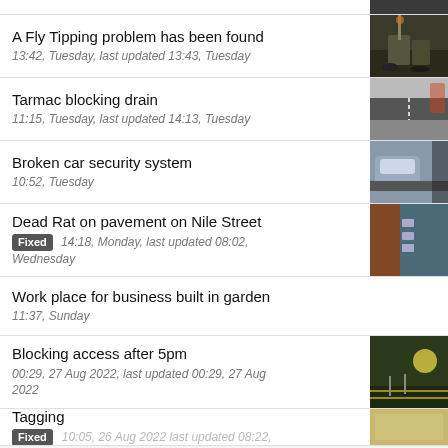A Fly Tipping problem has been found
13:42, Tuesday, last updated 13:43, Tuesday
Tarmac blocking drain
11:15, Tuesday, last updated 14:13, Tuesday
Broken car security system
10:52, Tuesday
Dead Rat on pavement on Nile Street
Fixed 14:18, Monday, last updated 08:02, Wednesday
Work place for business built in garden
11:37, Sunday
Blocking access after 5pm
00:29, 27 Aug 2022, last updated 00:29, 27 Aug 2022
Tagging
Fixed 10:05, 26 Aug 2022, last updated 08:22, ...